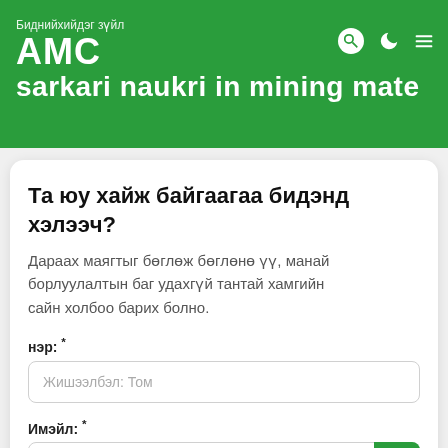Биднийхийдэг зүйл
AMC
sarkari naukri in mining mate
Та юу хайж байгаагаа бидэнд хэлээч?
Дараах маягтыг бөглөж бөглөнө үү, манай борлуулалтын баг удахгүй тантай хамгийн сайн холбоо барих болно.
нэр: *
Жишээлбэл: Том
Имэйл: *
Жишээлбэл: contact@shanghaimeilan.com
Утас: *
(Улсын кодтой)+86 1234